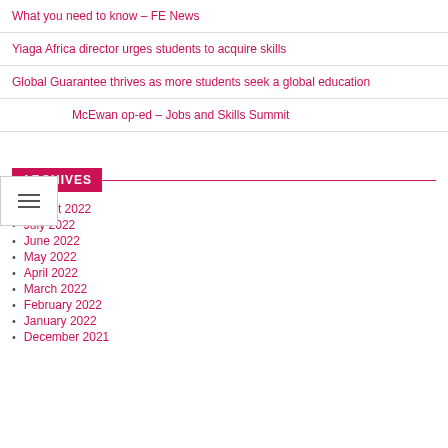What you need to know – FE News
Yiaga Africa director urges students to acquire skills
Global Guarantee thrives as more students seek a global education
McEwan op-ed – Jobs and Skills Summit
ARCHIVES
August 2022
July 2022
June 2022
May 2022
April 2022
March 2022
February 2022
January 2022
December 2021